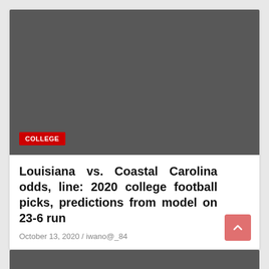[Figure (photo): Dark gray image placeholder area with a red COLLEGE category badge in the bottom-left corner]
Louisiana vs. Coastal Carolina odds, line: 2020 college football picks, predictions from model on 23-6 run
October 13, 2020 / iwano@_84